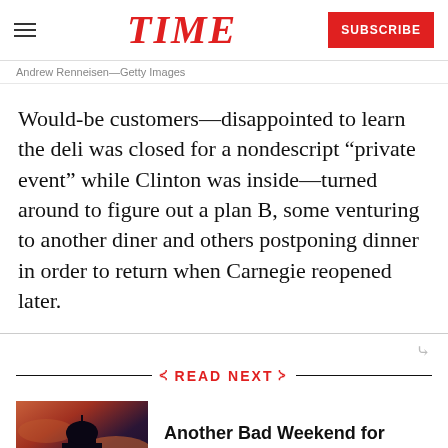TIME  SUBSCRIBE
Andrew Renneisen—Getty Images
Would-be customers—disappointed to learn the deli was closed for a nondescript “private event” while Clinton was inside—turned around to figure out a plan B, some venturing to another diner and others postponing dinner in order to return when Carnegie reopened later.
READ NEXT
[Figure (photo): US Capitol building silhouetted against a red-orange sunset sky]
Another Bad Weekend for Trump